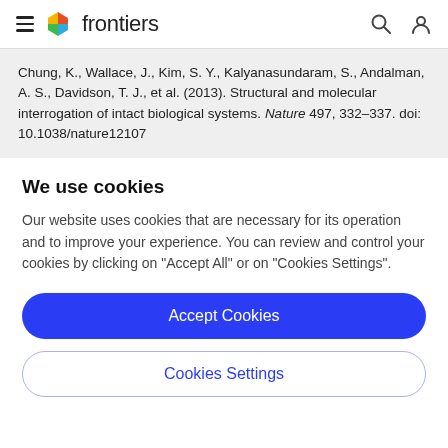frontiers
Chung, K., Wallace, J., Kim, S. Y., Kalyanasundaram, S., Andalman, A. S., Davidson, T. J., et al. (2013). Structural and molecular interrogation of intact biological systems. Nature 497, 332–337. doi: 10.1038/nature12107
We use cookies
Our website uses cookies that are necessary for its operation and to improve your experience. You can review and control your cookies by clicking on "Accept All" or on "Cookies Settings".
Accept Cookies
Cookies Settings